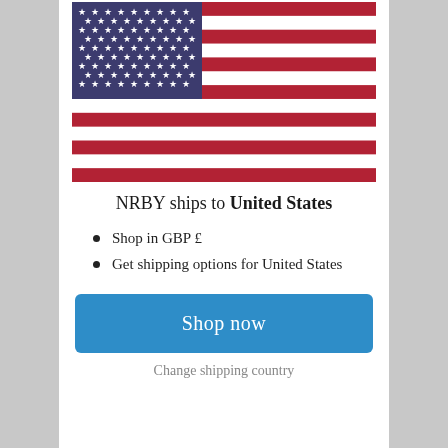[Figure (illustration): US flag (Stars and Stripes) showing blue canton with white stars and red/white horizontal stripes]
NRBY ships to United States
Shop in GBP £
Get shipping options for United States
Shop now
Change shipping country